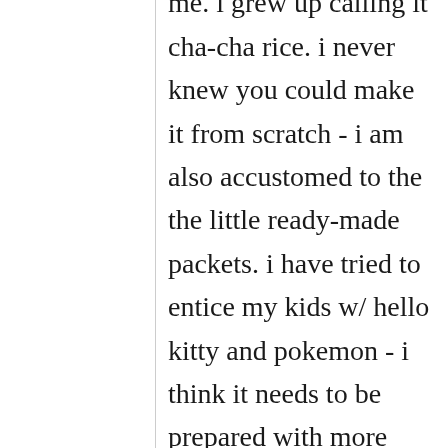obaasan is hugging me. i grew up calling it cha-cha rice. i never knew you could make it from scratch - i am also accustomed to the the little ready-made packets. i have tried to entice my kids w/ hello kitty and pokemon - i think it needs to be prepared with more love and less marketing.